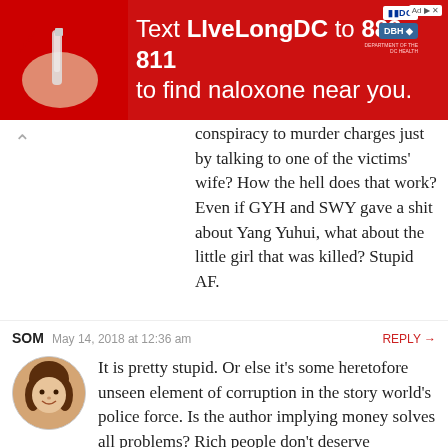[Figure (photo): Red advertisement banner: Text LiveLongDC to 888-811 to find naloxone near you. Includes DC government and DBH logos.]
conspiracy to murder charges just by talking to one of the victims' wife? How the hell does that work? Even if GYH and SWY gave a shit about Yang Yuhui, what about the little girl that was killed? Stupid AF.
SOM  May 14, 2018 at 12:36 am  REPLY →
It is pretty stupid. Or else it's some heretofore unseen element of corruption in the story world's police force. Is the author implying money solves all problems? Rich people don't deserve punishment unless and until they commit crimes against unforgiving but more rich and powerful people?